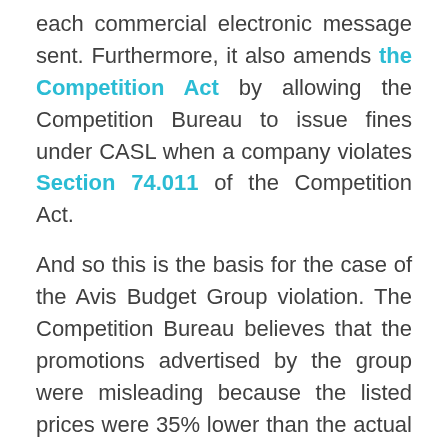each commercial electronic message sent. Furthermore, it also amends the Competition Act by allowing the Competition Bureau to issue fines under CASL when a company violates Section 74.011 of the Competition Act.
And so this is the basis for the case of the Avis Budget Group violation. The Competition Bureau believes that the promotions advertised by the group were misleading because the listed prices were 35% lower than the actual price the consumer paid.
In its Notice of Application, the Competition Bureau examined the promotions in their various